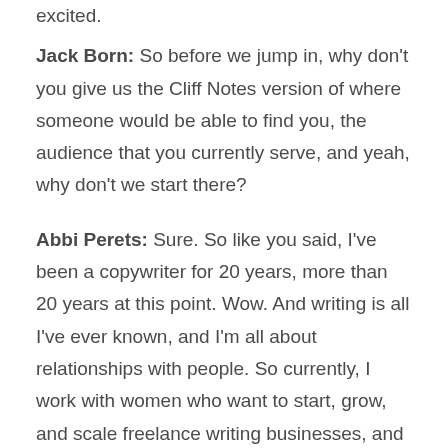excited.
Jack Born: So before we jump in, why don't you give us the Cliff Notes version of where someone would be able to find you, the audience that you currently serve, and yeah, why don't we start there?
Abbi Perets: Sure. So like you said, I've been a copywriter for 20 years, more than 20 years at this point. Wow. And writing is all I've ever known, and I'm all about relationships with people. So currently, I work with women who want to start, grow, and scale freelance writing businesses, and as I was building my own